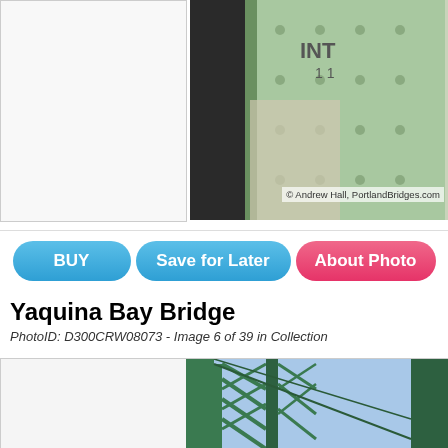[Figure (photo): Top portion of a bridge photo showing green metal bridge structure with 'INT' text and bolts visible, watermark reads '© Andrew Hall, PortlandBridges.com']
© Andrew Hall, PortlandBridges.com
BUY
Save for Later
About Photo
Yaquina Bay Bridge
PhotoID: D300CRW08073 - Image 6 of 39 in Collection
[Figure (photo): Bottom portion showing Yaquina Bay Bridge steel truss tower with green painted metal structure against blue sky]